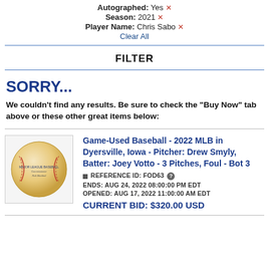Autographed: Yes ✕
Season: 2021 ✕
Player Name: Chris Sabo ✕
Clear All
FILTER
SORRY...
We couldn't find any results. Be sure to check the "Buy Now" tab above or these other great items below:
Game-Used Baseball - 2022 MLB in Dyersville, Iowa - Pitcher: Drew Smyly, Batter: Joey Votto - 3 Pitches, Foul - Bot 3
□ REFERENCE ID: FOD63 ?
ENDS: AUG 24, 2022 08:00:00 PM EDT
OPENED: AUG 17, 2022 11:00:00 AM EDT
CURRENT BID: $320.00 USD